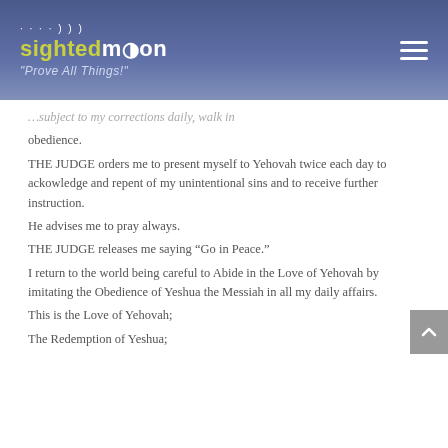sightedmoon "Prove All Things!"
obedience.
THE JUDGE orders me to present myself to Yehovah twice each day to ackowledge and repent of my unintentional sins and to receive further instruction.
He advises me to pray always.
THE JUDGE releases me saying “Go in Peace.”
I return to the world being careful to Abide in the Love of Yehovah by imitating the Obedience of Yeshua the Messiah in all my daily affairs.
This is the Love of Yehovah;
The Redemption of Yeshua;